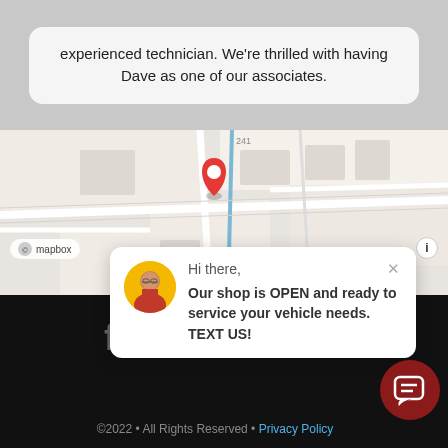experienced technician. We're thrilled with having Dave as one of our associates.
[Figure (map): Mapbox street map with red location pin marker and Mapbox attribution label]
Hi there,
Our shop is OPEN and ready to service your vehicle needs. TEXT US!
[Figure (infographic): Social media icons: Facebook, Twitter, Google, Yelp, Instagram]
©2022 • All Rights Reserved • Privacy Policy